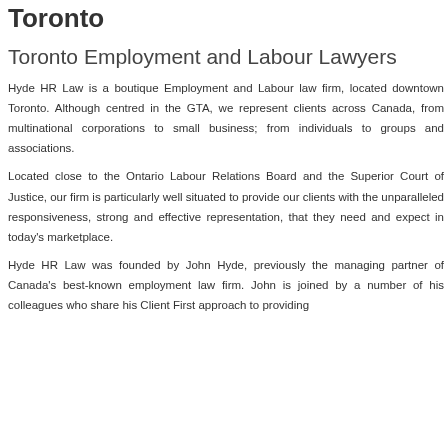Toronto
Toronto Employment and Labour Lawyers
Hyde HR Law is a boutique Employment and Labour law firm, located downtown Toronto. Although centred in the GTA, we represent clients across Canada, from multinational corporations to small business; from individuals to groups and associations.
Located close to the Ontario Labour Relations Board and the Superior Court of Justice, our firm is particularly well situated to provide our clients with the unparalleled responsiveness, strong and effective representation, that they need and expect in today's marketplace.
Hyde HR Law was founded by John Hyde, previously the managing partner of Canada's best-known employment law firm. John is joined by a number of his colleagues who share his Client First approach to providing…